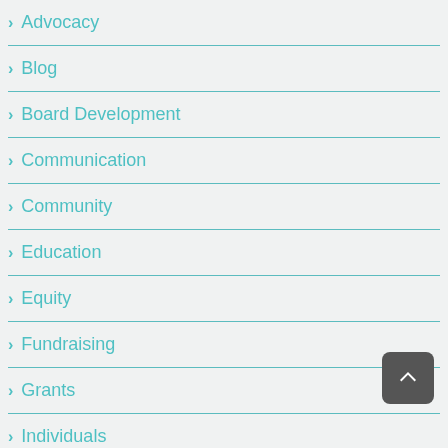Advocacy
Blog
Board Development
Communication
Community
Education
Equity
Fundraising
Grants
Individuals